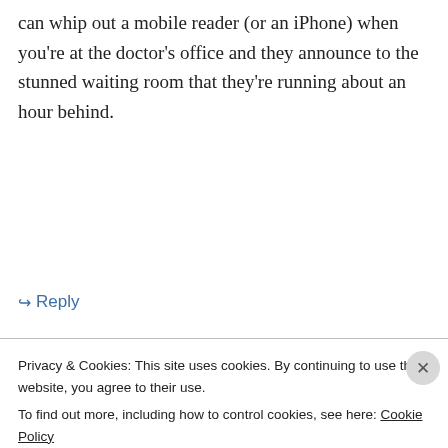can whip out a mobile reader (or an iPhone) when you're at the doctor's office and they announce to the stunned waiting room that they're running about an hour behind.
↳ Reply
Advertisements
[Figure (other): WooCommerce advertisement banner: purple left side with WooCommerce logo and teal arrow, right side with text 'How to start selling subscriptions online', orange and blue decorative shapes]
fritopi on March 23, 2009 at 5:49 am
Privacy & Cookies: This site uses cookies. By continuing to use this website, you agree to their use.
To find out more, including how to control cookies, see here: Cookie Policy